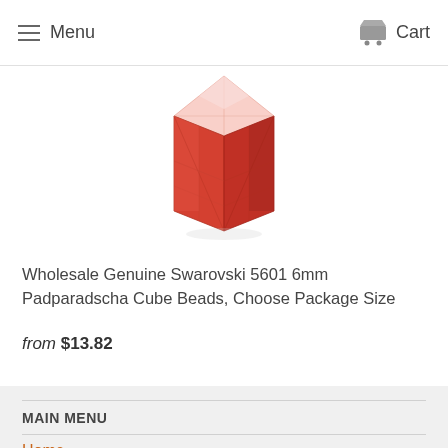Menu  Cart
[Figure (photo): Wholesale Genuine Swarovski 5601 6mm Padparadscha red crystal cube bead, shown as a faceted red-orange translucent crystal cube against white background.]
Wholesale Genuine Swarovski 5601 6mm Padparadscha Cube Beads, Choose Package Size
from $13.82
MAIN MENU
Home
Shop
Beads